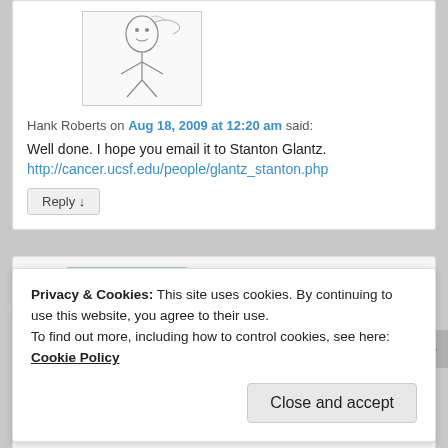[Figure (illustration): Sketch/hand-drawn avatar image of a person]
Hank Roberts on Aug 18, 2009 at 12:20 am said:
Well done. I hope you email it to Stanton Glantz.
http://cancer.ucsf.edu/people/glantz_stanton.php
Reply ↓
[Figure (photo): Photo of a person hang gliding against a blue sky, with a green hang glider wing visible]
Privacy & Cookies: This site uses cookies. By continuing to use this website, you agree to their use.
To find out more, including how to control cookies, see here: Cookie Policy
Close and accept